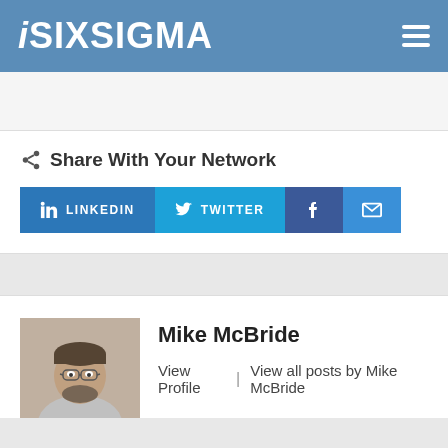iSIXSIGMA
Share With Your Network
LINKEDIN  TWITTER  Facebook  Email
Mike McBride
View Profile  |  View all posts by Mike McBride